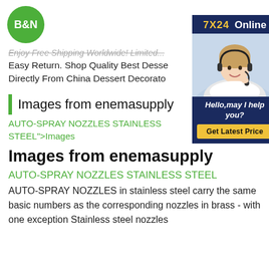B&N
Enjoy Free Shipping Worldwide! Limited...
Easy Return. Shop Quality Best Desse... Directly From China Dessert Decorato...
[Figure (infographic): 7X24 Online chat widget with customer service representative photo and 'Hello,may I help you?' text and 'Get Latest Price' button]
Images from enemasupply
AUTO-SPRAY NOZZLES STAINLESS STEEL">Images
Images from enemasupply
AUTO-SPRAY NOZZLES STAINLESS STEEL
AUTO-SPRAY NOZZLES in stainless steel carry the same basic numbers as the corresponding nozzles in brass - with one exception Stainless steel nozzles